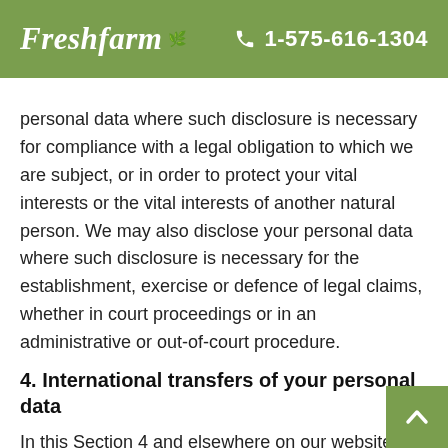Freshfarm | 1-575-616-1304
personal data where such disclosure is necessary for compliance with a legal obligation to which we are subject, or in order to protect your vital interests or the vital interests of another natural person. We may also disclose your personal data where such disclosure is necessary for the establishment, exercise or defence of legal claims, whether in court proceedings or in an administrative or out-of-court procedure.
4. International transfers of your personal data
In this Section 4 and elsewhere on our website, provide information about the circumstances in your personal data may be transferred from a